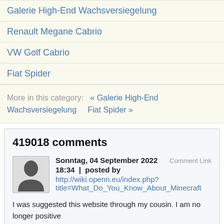Galerie High-End Wachsversiegelung
Renault Megane Cabrio
VW Golf Cabrio
Fiat Spider
More in this category: « Galerie High-End Wachsversiegelung   Fiat Spider »
419018 comments
Sonntag, 04 September 2022 18:34 | posted by http://wiki.openn.eu/index.php?title=What_Do_You_Know_About_Minecraft
I was suggested this website through my cousin. I am no longer positive whether this post is written through him as no one